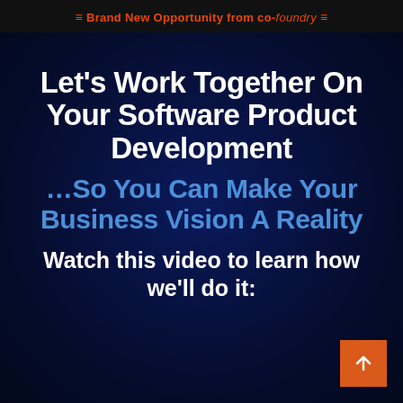≡ Brand New Opportunity from co-foundry ≡
Let's Work Together On Your Software Product Development
…So You Can Make Your Business Vision A Reality
Watch this video to learn how we'll do it:
[Figure (other): Orange scroll-to-top button with upward arrow in bottom-right corner]